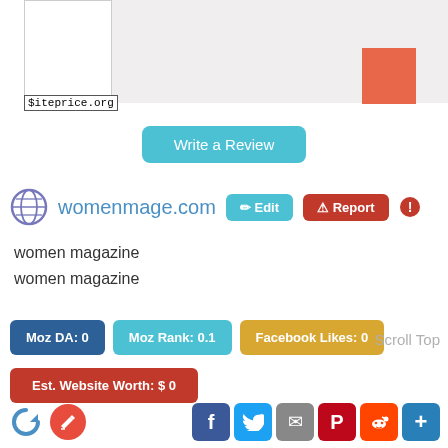[Figure (screenshot): Website preview chart area with white inner box on grey background and orange square in upper right, with $iteprice.org label]
Write a Review
womenmage.com  Edit  Report
women magazine
women magazine
Moz DA: 0   Moz Rank: 0.1   Facebook Likes: 0
Est. Website Worth: $ 0
Scroll Top
[Figure (screenshot): Social share icons: Facebook, Twitter, Email, Pinterest, Reddit, Plus]